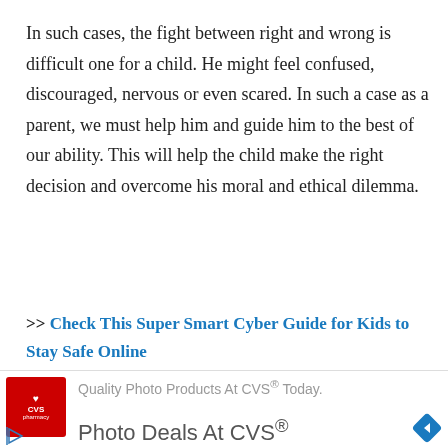In such cases, the fight between right and wrong is difficult one for a child. He might feel confused, discouraged, nervous or even scared. In such a case as a parent, we must help him and guide him to the best of our ability. This will help the child make the right decision and overcome his moral and ethical dilemma.
>> Check This Super Smart Cyber Guide for Kids to Stay Safe Online
[Figure (other): CVS Pharmacy advertisement banner with CVS logo, text 'Quality Photo Products At CVS® Today.' and 'Photo Deals At CVS®', navigation arrow icon, close button, and play button]